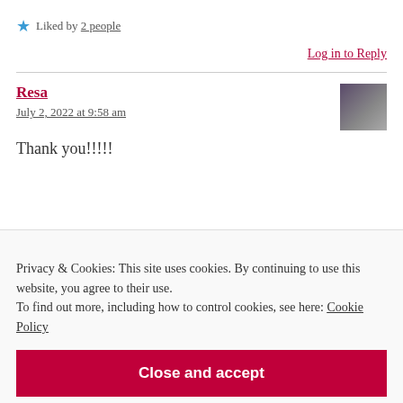★ Liked by 2 people
Log in to Reply
Resa
July 2, 2022 at 9:58 am
Thank you!!!!!
Privacy & Cookies: This site uses cookies. By continuing to use this website, you agree to their use.
To find out more, including how to control cookies, see here: Cookie Policy
Close and accept
REPLY   STEVENS   REPLY